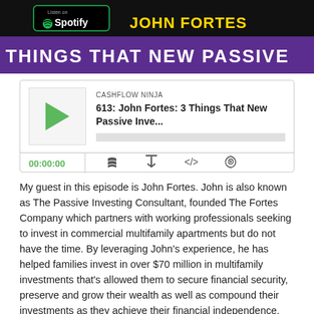[Figure (screenshot): Podcast banner with Spotify badge, John Fortes name in gold on black background, and 'THINGS THAT NEW PASSIVE' text in white on purple background]
[Figure (screenshot): Podcast player widget for Cashflow Ninja episode 613: John Fortes: 3 Things That New Passive Inve... showing play button, time 00:00:00 and playback controls]
My guest in this episode is John Fortes. John is also known as The Passive Investing Consultant, founded The Fortes Company which partners with working professionals seeking to invest in commercial multifamily apartments but do not have the time. By leveraging John's experience, he has helped families invest in over $70 million in multifamily investments that's allowed them to secure financial security, preserve and grow their wealth as well as compound their investments as they achieve their financial independence.
John is also the host of The Passive Investor Show podcast, which has become one of the hottest real estate podcasts on iTunes for working professionals looking for a hands-off approach to investing in real estate syndications."